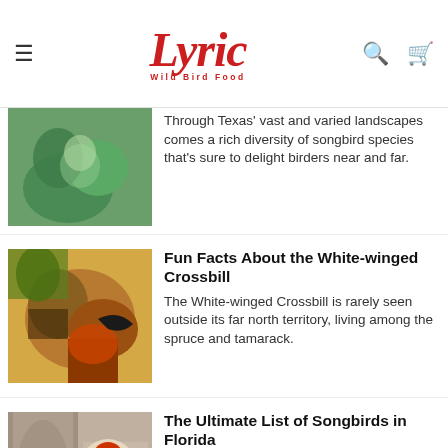Lyric Wild Bird Food
Through Texas' vast and varied landscapes comes a rich diversity of songbird species that's sure to delight birders near and far.
Fun Facts About the White-winged Crossbill
The White-winged Crossbill is rarely seen outside its far north territory, living among the spruce and tamarack.
The Ultimate List of Songbirds in Florida
The Northern Cardinal, the Mourning Dove and the Red-bellied Woodpecker are the most commonly spotted backyard birds in Florida.